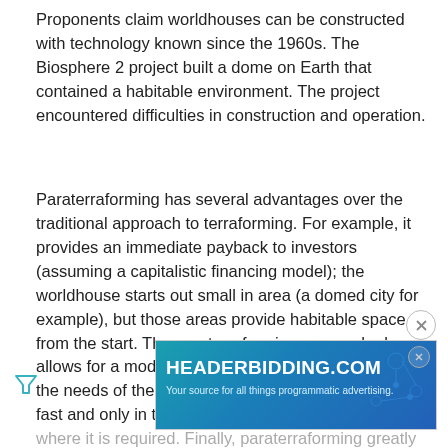Proponents claim worldhouses can be constructed with technology known since the 1960s. The Biosphere 2 project built a dome on Earth that contained a habitable environment. The project encountered difficulties in construction and operation.
Paraterraforming has several advantages over the traditional approach to terraforming. For example, it provides an immediate payback to investors (assuming a capitalistic financing model); the worldhouse starts out small in area (a domed city for example), but those areas provide habitable space from the start. The paraterraforming approach also allows for a modular approach that can be tailored to the needs of the planet's population, growing only as fast and only in those areas where it is required. Finally, paraterraforming greatly reduces the need to add to atmospheric pressures. By using a solid envelope in this manner, even
[Figure (screenshot): Advertisement banner for HEADERBIDDING.COM — 'Your source for all things programmatic advertising.' with teal/blue gradient background and circuit pattern.]